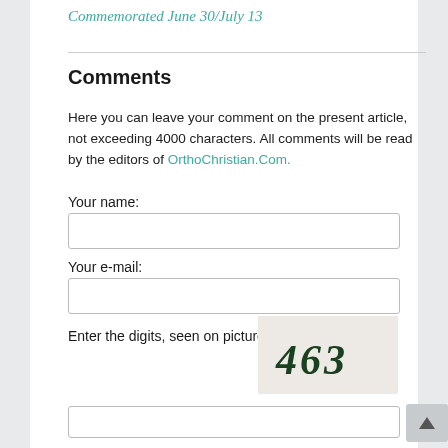Commemorated June 30/July 13
Comments
Here you can leave your comment on the present article, not exceeding 4000 characters. All comments will be read by the editors of OrthoChristian.Com.
Your name:
Your e-mail:
Enter the digits, seen on picture:
[Figure (other): CAPTCHA image showing handwritten-style digits '463' on a light beige background]